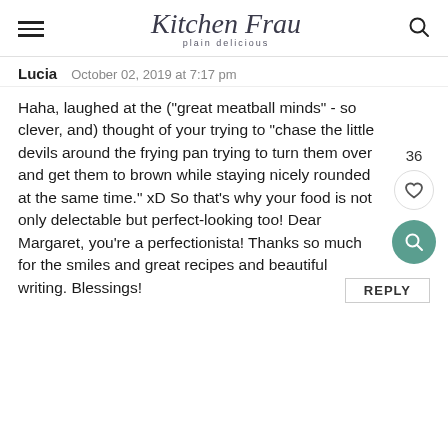Kitchen Frau plain delicious
Lucia   October 02, 2019 at 7:17 pm
Haha, laughed at the ("great meatball minds" - so clever, and) thought of your trying to "chase the little devils around the frying pan trying to turn them over and get them to brown while staying nicely rounded at the same time." xD So that's why your food is not only delectable but perfect-looking too! Dear Margaret, you're a perfectionista! Thanks so much for the smiles and great recipes and beautiful writing. Blessings!